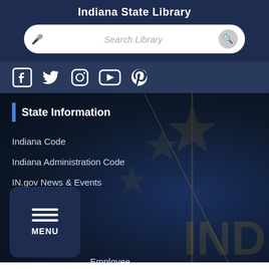Indiana State Library
[Figure (screenshot): Search bar with microphone icon and search button]
[Figure (infographic): Social media icons: Facebook, Twitter, Instagram, YouTube, Pinterest]
State Information
Indiana Code
Indiana Administration Code
IN.gov News & Events
Email Updates
Awards
Resources
Employee
cy
Maps & Information
[Figure (screenshot): MENU button with three horizontal lines]